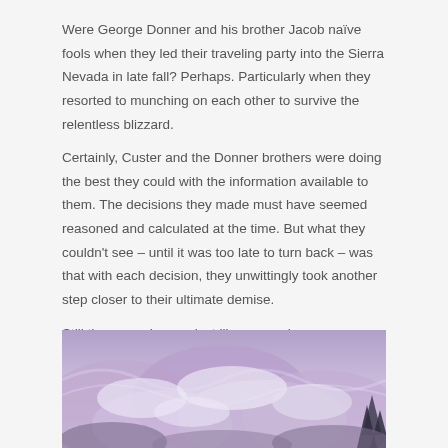Were George Donner and his brother Jacob naïve fools when they led their traveling party into the Sierra Nevada in late fall? Perhaps. Particularly when they resorted to munching on each other to survive the relentless blizzard.
Certainly, Custer and the Donner brothers were doing the best they could with the information available to them. The decisions they made must have seemed reasoned and calculated at the time. But what they couldn't see – until it was too late to turn back – was that with each decision, they unwittingly took another step closer to their ultimate demise.
Still they were human just like we are human… no smarter, no dumber. We are not here to ridicule them; but rather, to learn from them.
[Figure (photo): A snowy mountain scene with purple-tinted snow and ice, pine trees visible on the right side, depicting a winter blizzard in the Sierra Nevada mountains.]